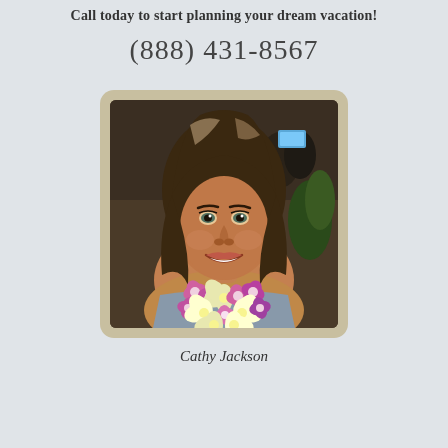Call today to start planning your dream vacation!
(888) 431-8567
[Figure (photo): Portrait photo of a woman with brown hair wearing a floral lei, smiling, inside a tan/beige rounded frame]
Cathy Jackson